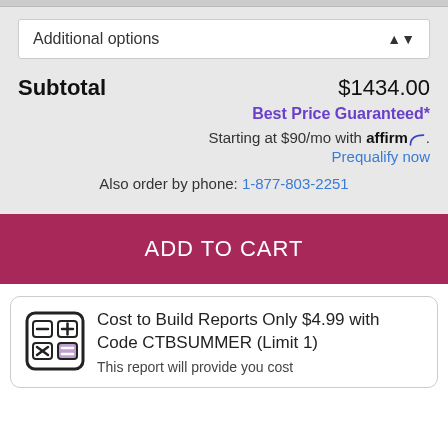Additional options
Subtotal  $1434.00
Best Price Guaranteed*
Starting at $90/mo with affirm. Prequalify now
Also order by phone: 1-877-803-2251
ADD TO CART
Cost to Build Reports Only $4.99 with Code CTBSUMMER (Limit 1) This report will provide you cost